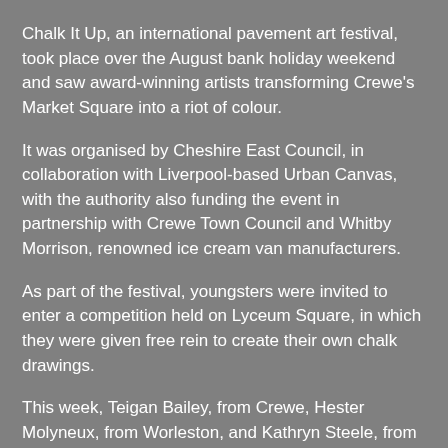Chalk It Up, an international pavement art festival, took place over the August bank holiday weekend and saw award-winning artists transforming Crewe's Market Square into a riot of colour.
It was organised by Cheshire East Council, in collaboration with Liverpool-based Urban Canvas, with the authority also funding the event in partnership with Crewe Town Council and Whitby Morrison, renowned ice cream van manufacturers.
As part of the festival, youngsters were invited to enter a competition held on Lyceum Square, in which they were given free rein to create their own chalk drawings.
This week, Teigan Bailey, from Crewe, Hester Molyneux, from Worleston, and Kathryn Steele, from Church Lawton, each received prizes for their efforts after being selected as the overall winners of three age categories.
Six-year-old Teigan, a pupil at St Michael's Community Academy, was named winner of the six years and under